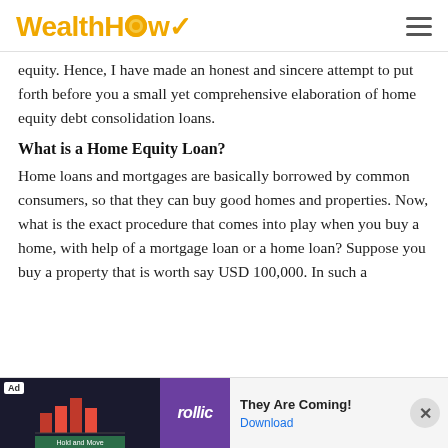WealthHow
equity. Hence, I have made an honest and sincere attempt to put forth before you a small yet comprehensive elaboration of home equity debt consolidation loans.
What is a Home Equity Loan?
Home loans and mortgages are basically borrowed by common consumers, so that they can buy good homes and properties. Now, what is the exact procedure that comes into play when you buy a home, with help of a mortgage loan or a home loan? Suppose you buy a property that is worth say USD 100,000. In such a
[Figure (other): Advertisement banner for Rollic game 'They Are Coming!' with Ad label, dark background with game imagery, Rollic purple logo, text 'They Are Coming!' and 'Download' link]